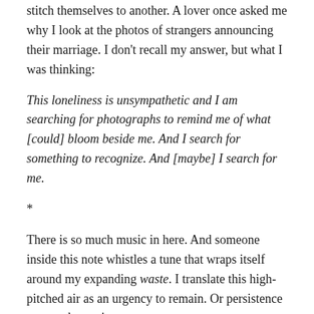stitch themselves to another. A lover once asked me why I look at the photos of strangers announcing their marriage. I don't recall my answer, but what I was thinking:
This loneliness is unsympathetic and I am searching for photographs to remind me of what [could] bloom beside me. And I search for something to recognize. And [maybe] I search for me.
*
There is so much music in here. And someone inside this note whistles a tune that wraps itself around my expanding waste. I translate this high-pitched air as an urgency to remain. Or persistence to see what waits.
*
Our someone is still out there. Or maybe… they've just